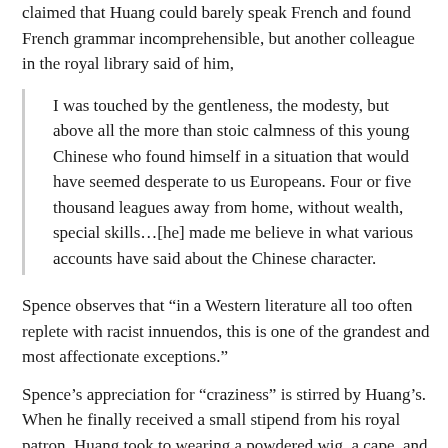claimed that Huang could barely speak French and found French grammar incomprehensible, but another colleague in the royal library said of him,
I was touched by the gentleness, the modesty, but above all the more than stoic calmness of this young Chinese who found himself in a situation that would have seemed desperate to us Europeans. Four or five thousand leagues away from home, without wealth, special skills…[he] made me believe in what various accounts have said about the Chinese character.
Spence observes that “in a Western literature all too often replete with racist innuendos, this is one of the grandest and most affectionate exceptions.”
Spence’s appreciation for “craziness” is stirred by Huang’s. When he finally received a small stipend from his royal patron, Huang took to wearing a powdered wig, a cape, and carrying a tassled cane. He also refers to himself in his journal, variously, as “Mgr. le